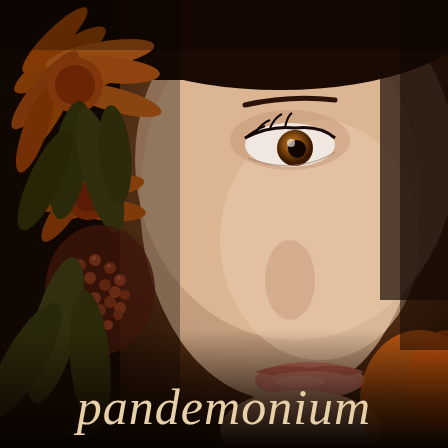[Figure (illustration): Book cover for 'Pandemonium'. Close-up portrait of a young woman's face with warm brown eyes, dark hair, natural makeup with rosy lips. To the left side of her face are large orange tropical flowers (protea or similar) with dark green leaves and a cluster of reddish-brown seeds/berries. The background is dark brown/amber tones. The overall color palette is warm oranges, browns, and golds.]
pandemonium